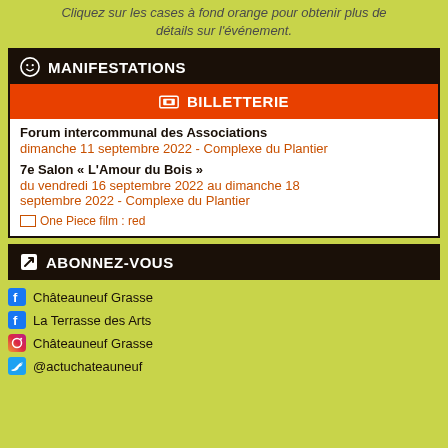Cliquez sur les cases à fond orange pour obtenir plus de détails sur l'événement.
MANIFESTATIONS
BILLETTERIE
Forum intercommunal des Associations
dimanche 11 septembre 2022 - Complexe du Plantier
7e Salon « L'Amour du Bois »
du vendredi 16 septembre 2022 au dimanche 18 septembre 2022 - Complexe du Plantier
[Figure (other): One Piece film : red image link]
ABONNEZ-VOUS
Châteauneuf Grasse (Facebook)
La Terrasse des Arts (Facebook)
Châteauneuf Grasse (Instagram)
@actuchateauneuf (Twitter)